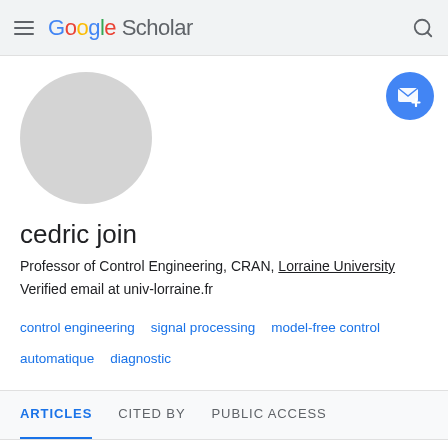Google Scholar
[Figure (illustration): Circular grey avatar placeholder image]
[Figure (illustration): Blue circular follow/email button with envelope icon and plus sign]
cedric join
Professor of Control Engineering, CRAN, Lorraine University
Verified email at univ-lorraine.fr
control engineering
signal processing
model-free control
automatique
diagnostic
ARTICLES   CITED BY   PUBLIC ACCESS
SORT ▼   CITED BY